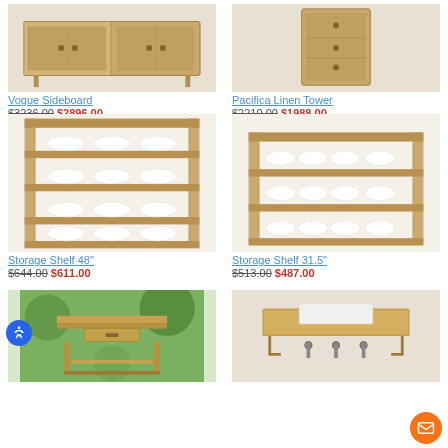[Figure (photo): Vogue Sideboard teak wood cabinet]
Vogue Sideboard
$3236.00 $2896.00
[Figure (photo): Pacifica Linen Tower teak wood cabinet]
Pacifica Linen Tower
$2210.00 $1988.00
[Figure (photo): Storage Shelf 48 inch teak with rolled towels]
Storage Shelf 48"
$644.00 $611.00
[Figure (photo): Storage Shelf 31.5 inch teak with rolled towels]
Storage Shelf 31.5"
$513.00 $487.00
[Figure (photo): Outdoor teak potting table with drawer and shelf]
[Figure (photo): Teak wall shelf with hooks and towel]